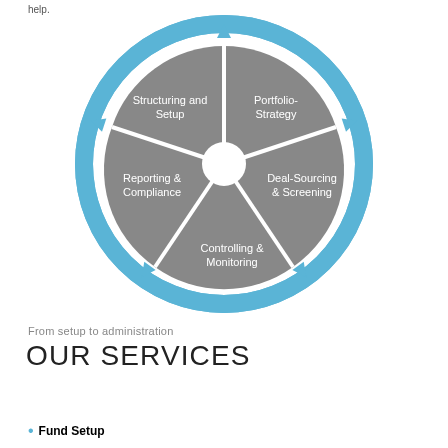help.
[Figure (other): Circular diagram with five segments arranged in a cycle, each labeled: Portfolio-Strategy (top right), Deal-Sourcing & Screening (right), Controlling & Monitoring (bottom), Reporting & Compliance (left), Structuring and Setup (top left). The outer ring is cyan/blue with arrows indicating clockwise flow. The inner segments are gray.]
From setup to administration
OUR SERVICES
Fund Setup